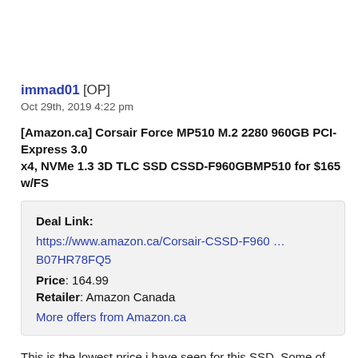immad01 [OP]
Oct 29th, 2019 4:22 pm
[Amazon.ca] Corsair Force MP510 M.2 2280 960GB PCI-Express 3.0 x4, NVMe 1.3 3D TLC SSD CSSD-F960GBMP510 for $165 w/FS
Deal Link:
https://www.amazon.ca/Corsair-CSSD-F960 … B07HR78FQ5
Price: 164.99
Retailer: Amazon Canada
More offers from Amazon.ca
This is the lowest price i have seen for this SSD. Some of the best specs.